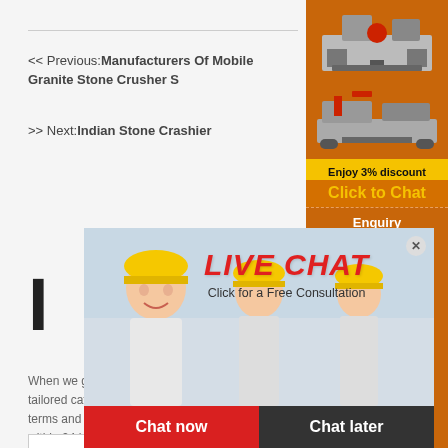<< Previous:Manufacturers Of Mobile Granite Stone Crusher S
>> Next:Indian Stone Crashier
When we get your inquiries, we will send tailored catalogue, pricelist, delivery, payment terms and other required details to you by email within 24 hours.
[Figure (photo): Live chat popup with workers wearing yellow hard hats. Text: LIVE CHAT, Click for a Free Consultation, Chat now button (red), Chat later button (dark)]
[Figure (illustration): Orange sidebar with machinery images, discount banner reading Enjoy 3% discount, Click to Chat in yellow, Enquiry section, email limingjlmofen@sina.com]